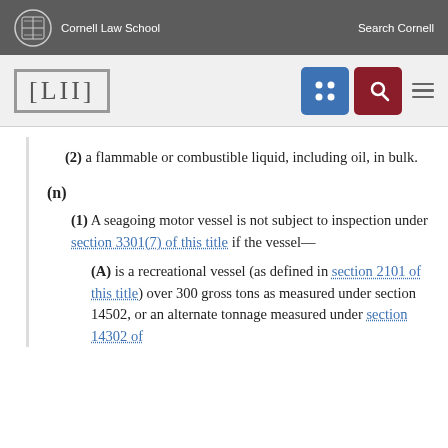Cornell Law School | Search Cornell
[Figure (logo): LII Legal Information Institute logo with navigation icons (grid icon in blue, search icon in red, hamburger menu)]
(2) a flammable or combustible liquid, including oil, in bulk.
(n)
(1) A seagoing motor vessel is not subject to inspection under section 3301(7) of this title if the vessel—
(A) is a recreational vessel (as defined in section 2101 of this title) over 300 gross tons as measured under section 14502, or an alternate tonnage measured under section 14302 of